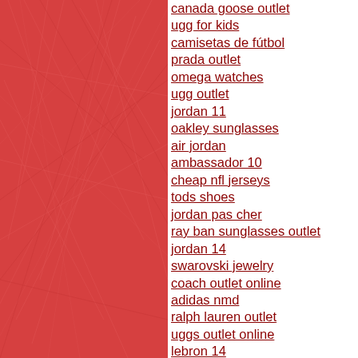[Figure (illustration): Red textured background panel on left half of page with white scratchy line pattern overlay]
canada goose outlet
ugg for kids
camisetas de fútbol
prada outlet
omega watches
ugg outlet
jordan 11
oakley sunglasses
air jordan
ambassador 10
cheap nfl jerseys
tods shoes
jordan pas cher
ray ban sunglasses outlet
jordan 14
swarovski jewelry
coach outlet online
adidas nmd
ralph lauren outlet
uggs outlet online
lebron 14
baseball bats
valentino shoes
beats headphones
kate spade handbags
tory burch handbags
ugg boots sale
nike factory store